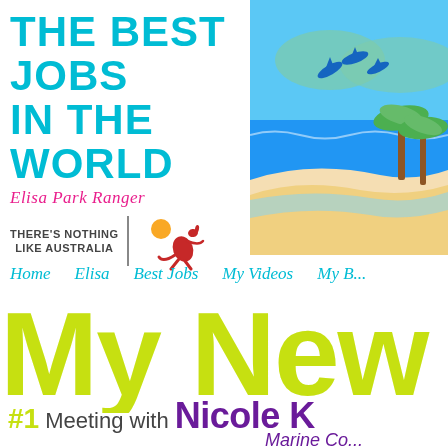THE BEST JOBS IN THE WORLD
Elisa Park Ranger
THERE'S NOTHING LIKE AUSTRALIA
[Figure (illustration): Cartoon beach scene with blue ocean, white sandy shore, palm trees, and dolphins jumping in the sky]
Home   Elisa   Best Jobs   My Videos   My ...
My New
#1 Meeting with Nicole K...
Marine Co...